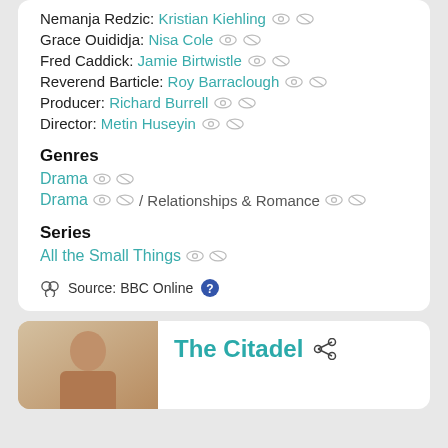Nemanja Redzic: Kristian Kiehling
Grace Ouididja: Nisa Cole
Fred Caddick: Jamie Birtwistle
Reverend Barticle: Roy Barraclough
Producer: Richard Burrell
Director: Metin Huseyin
Genres
Drama
Drama / Relationships & Romance
Series
All the Small Things
Source: BBC Online
The Citadel